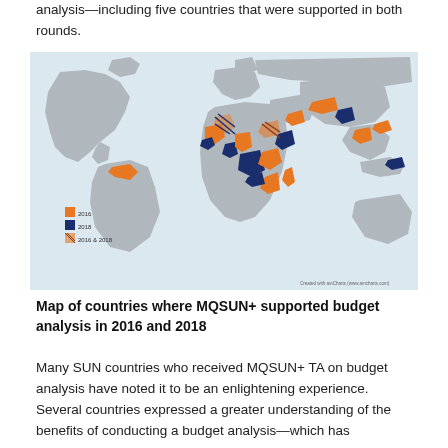analysis—including five countries that were supported in both rounds.
[Figure (map): World map showing countries where MQSUN+ supported budget analysis in 2016 (orange) and 2018 (dark blue) and countries supported in both rounds (hatched dark/orange pattern). Countries highlighted are primarily in sub-Saharan Africa, South/Southeast Asia, Middle East, and parts of Latin America.]
Map of countries where MQSUN+ supported budget analysis in 2016 and 2018
Many SUN countries who received MQSUN+ TA on budget analysis have noted it to be an enlightening experience. Several countries expressed a greater understanding of the benefits of conducting a budget analysis—which has